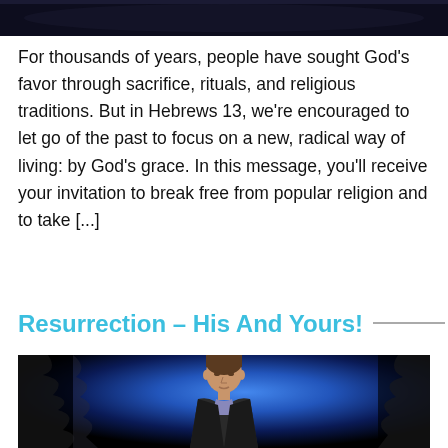[Figure (photo): Dark header image strip at top of page]
For thousands of years, people have sought God's favor through sacrifice, rituals, and religious traditions. But in Hebrews 13, we're encouraged to let go of the past to focus on a new, radical way of living: by God's grace. In this message, you'll receive your invitation to break free from popular religion and to take [...]
Resurrection – His And Yours!
[Figure (photo): A man in a dark blazer and plaid shirt speaking, with a blue and dark background with tree-like patterns behind him]